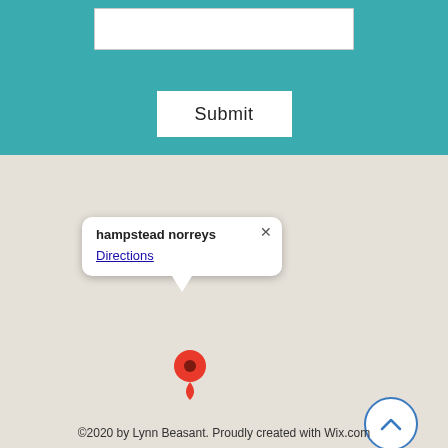[Figure (screenshot): Teal/turquoise form section at top with a white input box and a Submit button]
[Figure (map): Google Maps screenshot showing a grey map with a red location pin at Hampstead Norreys, with a popup tooltip showing the place name and a Directions link]
©2020 by Lynn Beasant. Proudly created with Wix.com